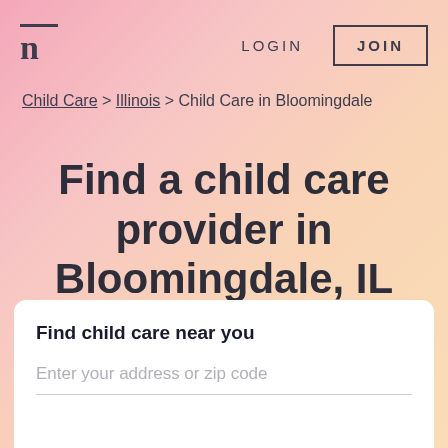n  LOGIN  JOIN
Child Care > Illinois > Child Care in Bloomingdale
Find a child care provider in Bloomingdale, IL
Nanny Lane is an easy and safe place for finding child care
Find child care near you
Enter your address or zip code